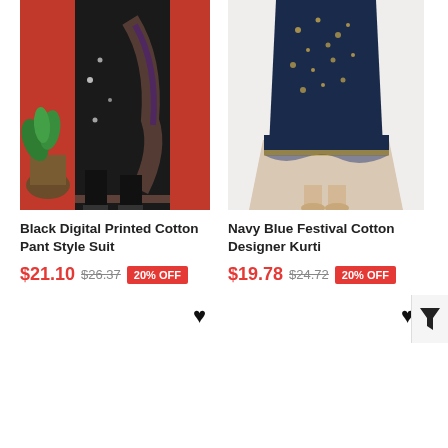[Figure (photo): Black digital printed cotton pant style suit worn by a model, red background, plant visible]
Black Digital Printed Cotton Pant Style Suit
$21.10  $26.37  20% OFF
[Figure (photo): Navy blue festival cotton designer kurti worn by a model, layered dress style]
Navy Blue Festival Cotton Designer Kurti
$19.78  $24.72  20% OFF